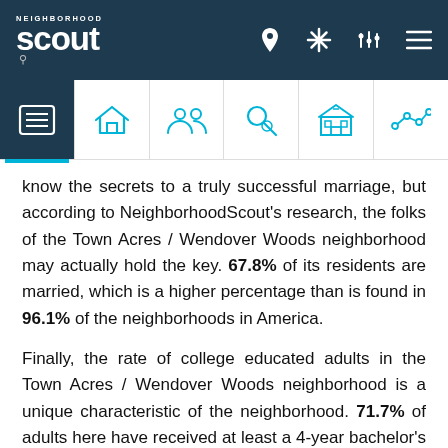Neighborhood Scout - navigation bar with logo and icons
know the secrets to a truly successful marriage, but according to NeighborhoodScout's research, the folks of the Town Acres / Wendover Woods neighborhood may actually hold the key. 67.8% of its residents are married, which is a higher percentage than is found in 96.1% of the neighborhoods in America.
Finally, the rate of college educated adults in the Town Acres / Wendover Woods neighborhood is a unique characteristic of the neighborhood. 71.7% of adults here have received at least a 4-year bachelor's degree,